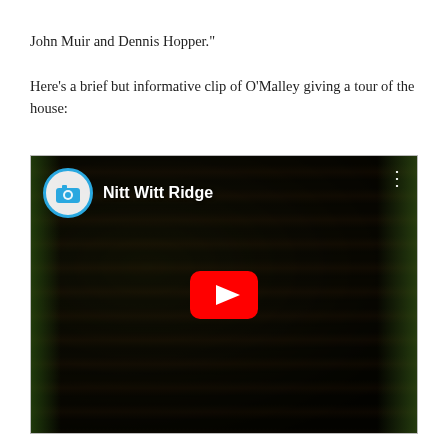John Muir and Dennis Hopper."

Here's a brief but informative clip of O'Malley giving a tour of the house:
[Figure (screenshot): Embedded YouTube video thumbnail showing a stone column or sculpture with greenery in the background. The video is titled 'Nitt Witt Ridge' with a camera icon/logo in the top left corner and a red YouTube play button centered on the image.]